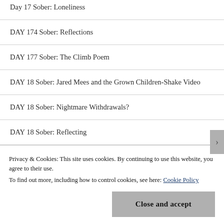Day 17 Sober: Loneliness
DAY 174 Sober: Reflections
DAY 177 Sober: The Climb Poem
DAY 18 Sober: Jared Mees and the Grown Children-Shake Video
DAY 18 Sober: Nightmare Withdrawals?
DAY 18 Sober: Reflecting
DAY 18 Sober: Sia Chandelier and Home Book...
Privacy & Cookies: This site uses cookies. By continuing to use this website, you agree to their use.
To find out more, including how to control cookies, see here: Cookie Policy
Close and accept